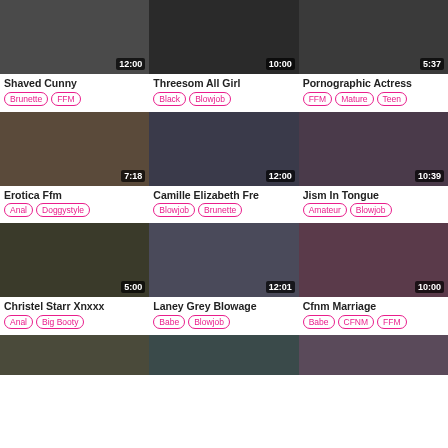[Figure (screenshot): Video thumbnail grid showing adult video listings with titles, durations, and category tags]
Shaved Cunny | 12:00 | Brunette, FFM
Threesom All Girl | 10:00 | Black, Blowjob
Pornographic Actress | 5:37 | FFM, Mature, Teen
Erotica Ffm | 7:18 | Anal, Doggystyle
Camille Elizabeth Fre | 12:00 | Blowjob, Brunette
Jism In Tongue | 10:39 | Amateur, Blowjob
Christel Starr Xnxxx | 5:00 | Anal, Big Booty
Laney Grey Blowage | 12:01 | Babe, Blowjob
Cfnm Marriage | 10:00 | Babe, CFNM, FFM